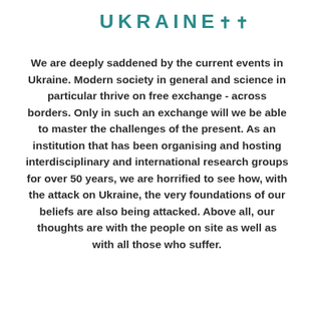UKRAINE
We are deeply saddened by the current events in Ukraine. Modern society in general and science in particular thrive on free exchange - across borders. Only in such an exchange will we be able to master the challenges of the present. As an institution that has been organising and hosting interdisciplinary and international research groups for over 50 years, we are horrified to see how, with the attack on Ukraine, the very foundations of our beliefs are also being attacked. Above all, our thoughts are with the people on site as well as with all those who suffer.